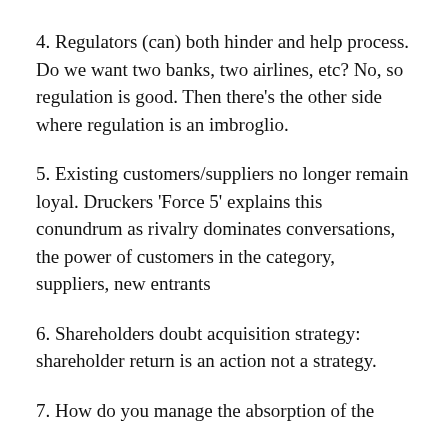4. Regulators (can) both hinder and help process. Do we want two banks, two airlines, etc? No, so regulation is good. Then there’s the other side where regulation is an imbroglio.
5. Existing customers/suppliers no longer remain loyal. Druckers ‘Force 5’ explains this conundrum as rivalry dominates conversations, the power of customers in the category, suppliers, new entrants
6. Shareholders doubt acquisition strategy: shareholder return is an action not a strategy.
7. How do you manage the absorption of the